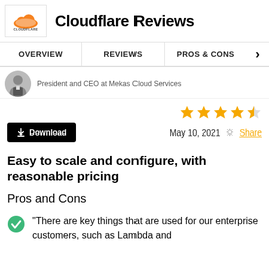Cloudflare Reviews
OVERVIEW  REVIEWS  PROS & CONS
President and CEO at Mekas Cloud Services
[Figure (other): 4.5 out of 5 stars rating (4 full gold stars and 1 half star)]
Download  May 10, 2021  Share
Easy to scale and configure, with reasonable pricing
Pros and Cons
"There are key things that are used for our enterprise customers, such as Lambda and